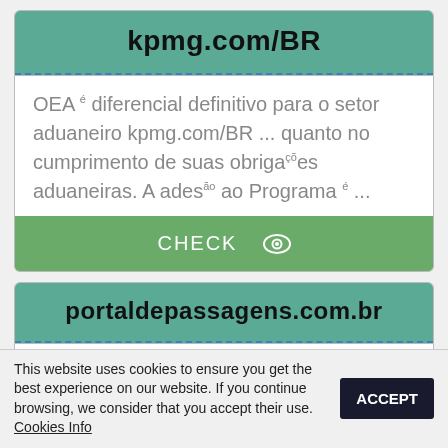kpmg.com/BR
OEA é diferencial definitivo para o setor aduaneiro kpmg.com/BR ... quanto no cumprimento de suas obrigações aduaneiras. A adesão ao Programa é ...
CHECK 👁
portaldepassagens.com.br
Atualmente a Empresa Princesa do Norte S/A possui uma frota composta por 141
This website uses cookies to ensure you get the best experience on our website. If you continue browsing, we consider that you accept their use. Cookies Info
ACCEPT